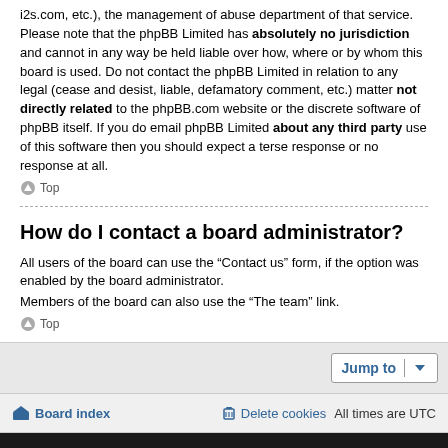i2s.com, etc.), the management of abuse department of that service. Please note that the phpBB Limited has absolutely no jurisdiction and cannot in any way be held liable over how, where or by whom this board is used. Do not contact the phpBB Limited in relation to any legal (cease and desist, liable, defamatory comment, etc.) matter not directly related to the phpBB.com website or the discrete software of phpBB itself. If you do email phpBB Limited about any third party use of this software then you should expect a terse response or no response at all.
Top
How do I contact a board administrator?
All users of the board can use the “Contact us” form, if the option was enabled by the board administrator.
Members of the board can also use the “The team” link.
Top
Jump to | Board index | Delete cookies | All times are UTC
Powered by phpBB® Forum Software © phpBB Limited. Style by Arty – Update phpBB 3.2 by MrGaby